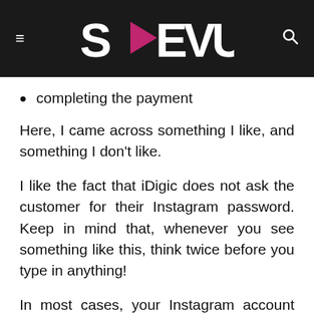SMEVU
completing the payment
Here, I came across something I like, and something I don't like.
I like the fact that iDigic does not ask the customer for their Instagram password. Keep in mind that, whenever you see something like this, think twice before you type in anything!
In most cases, your Instagram account can end up being shut down for good.
The thing I don't like at all is that I don't see the PayPal option. iDigic offers a customer to